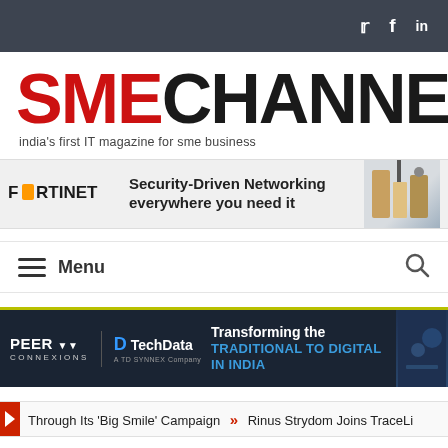Social icons: Twitter, Facebook, LinkedIn
SME CHANNELS — india's first IT magazine for sme business
[Figure (infographic): Fortinet advertisement banner: Security-Driven Networking everywhere you need it]
[Figure (screenshot): Navigation menu bar with hamburger Menu icon and search icon]
[Figure (infographic): Peer Connexions / Tech Data advertisement: Transforming the TRADITIONAL TO DIGITAL IN INDIA]
Through Its 'Big Smile' Campaign  » Rinus Strydom Joins TraceLi